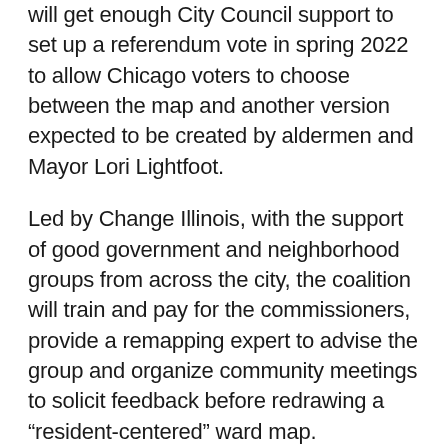will get enough City Council support to set up a referendum vote in spring 2022 to allow Chicago voters to choose between the map and another version expected to be created by aldermen and Mayor Lori Lightfoot.
Led by Change Illinois, with the support of good government and neighborhood groups from across the city, the coalition will train and pay for the commissioners, provide a remapping expert to advise the group and organize community meetings to solicit feedback before redrawing a “resident-centered” ward map.
Madeleine Doubek, executive director of Change Illinois, said “the days of deals over backroom maps are done.”